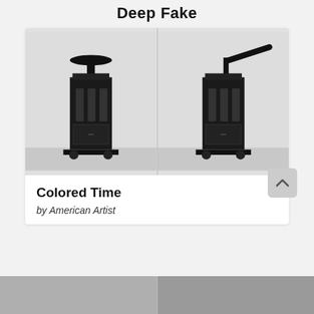Deep Fake
[Figure (photo): Two side-by-side photographs of a black industrial-looking sculptural machine/device on a white background. Left photo shows the device with a circular top element; right photo shows the device with a diagonal arm/lever extending from the side.]
Colored Time
by American Artist
[Figure (photo): Partially visible bottom strip showing the top edge of another artwork/image below.]